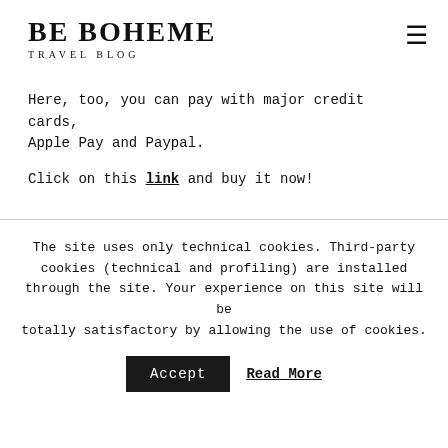BE BOHEME TRAVEL BLOG
Here, too, you can pay with major credit cards, Apple Pay and Paypal.
Click on this link and buy it now!
The site uses only technical cookies. Third-party cookies (technical and profiling) are installed through the site. Your experience on this site will be totally satisfactory by allowing the use of cookies.